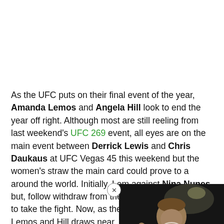As the UFC puts on their final event of the year, Amanda Lemos and Angela Hill look to end the year off right. Although most are still reeling from last weekend's UFC 269 event, all eyes are on the main event between Derrick Lewis and Chris Daukaus at UFC Vegas 45 this weekend but the women's straw... the main card could prove to a... around the world. Initially, Lem... against Nina Nunes but, follow... withdraw from the fight, Hill stepped up to take the fight. Now, as the showdown between Lemos and Hill draws near, both fighters look to prove themselves in one of the most dynamic divisions that the UFC has to offer.
[Figure (photo): Video overlay showing a boxer (tattooed, muscular) in a fighting stance with bright arena lights behind, with a play button and close button]